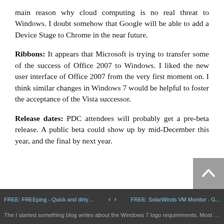main reason why cloud computing is no real threat to Windows. I doubt somehow that Google will be able to add a Device Stage to Chrome in the near future.
Ribbons: It appears that Microsoft is trying to transfer some of the success of Office 2007 to Windows. I liked the new user interface of Office 2007 from the very first moment on. I think similar changes in Windows 7 would be helpful to foster the acceptance of the Vista successor.
Release dates: PDC attendees will probably get a pre-beta release. A public beta could show up by mid-December this year, and the final by next year.
FREE: FREEping - Quick and dirty ...   <  >   FREE: SolarWinds VM Monitor - G...
The I started something blog writes about the Windows 7 logo requirements. Most interesting